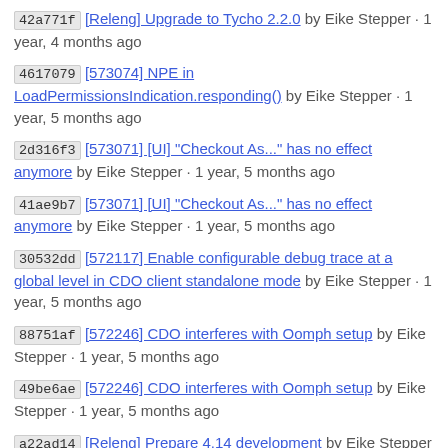42a771f [Releng] Upgrade to Tycho 2.2.0 by Eike Stepper · 1 year, 4 months ago
4617079 [573074] NPE in LoadPermissionsIndication.responding() by Eike Stepper · 1 year, 5 months ago
2d316f3 [573071] [UI] "Checkout As..." has no effect anymore by Eike Stepper · 1 year, 5 months ago
41ae9b7 [573071] [UI] "Checkout As..." has no effect anymore by Eike Stepper · 1 year, 5 months ago
30532dd [572117] Enable configurable debug trace at a global level in CDO client standalone mode by Eike Stepper · 1 year, 5 months ago
88751af [572246] CDO interferes with Oomph setup by Eike Stepper · 1 year, 5 months ago
49be6ae [572246] CDO interferes with Oomph setup by Eike Stepper · 1 year, 5 months ago
a22ad14 [Releng] Prepare 4.14 development by Eike Stepper · 1 year, 5 months ago